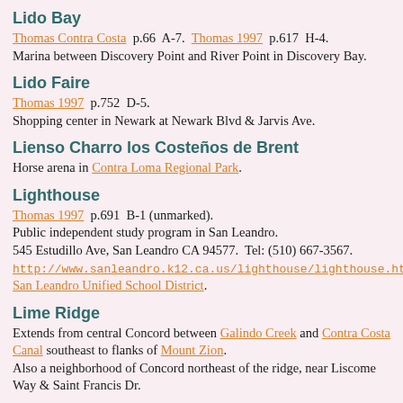Lido Bay
Thomas Contra Costa p.66 A-7. Thomas 1997 p.617 H-4. Marina between Discovery Point and River Point in Discovery Bay.
Lido Faire
Thomas 1997 p.752 D-5. Shopping center in Newark at Newark Blvd & Jarvis Ave.
Lienso Charro los Costeños de Brent
Horse arena in Contra Loma Regional Park.
Lighthouse
Thomas 1997 p.691 B-1 (unmarked). Public independent study program in San Leandro. 545 Estudillo Ave, San Leandro CA 94577. Tel: (510) 667-3567. http://www.sanleandro.k12.ca.us/lighthouse/lighthouse.htm San Leandro Unified School District.
Lime Ridge
Extends from central Concord between Galindo Creek and Contra Costa Canal southeast to flanks of Mount Zion. Also a neighborhood of Concord northeast of the ridge, near Liscome Way & Saint Francis Dr.